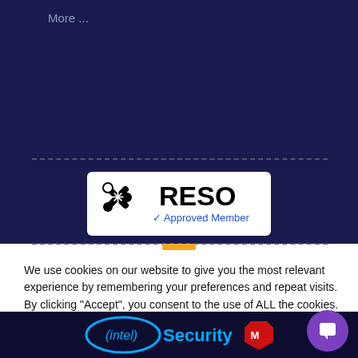More ...
[Figure (logo): RESO Approved Member badge — white rectangle with RESO logo (scissors icon) and blue checkmark 'Approved Member' text]
We use cookies on our website to give you the most relevant experience by remembering your preferences and repeat visits. By clicking “Accept”, you consent to the use of ALL the cookies. Read More
Cookie settings  ACCEPT  x
[Figure (logo): Intel Security logo with McAfee shield — white text on dark navy background]